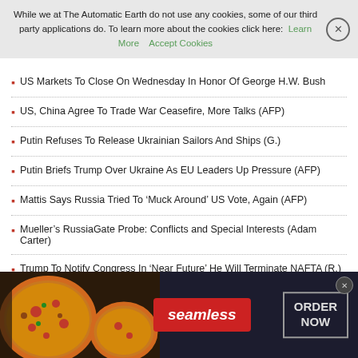While we at The Automatic Earth do not use any cookies, some of our third party applications do. To learn more about the cookies click here: Learn More  Accept Cookies
US Markets To Close On Wednesday In Honor Of George H.W. Bush
US, China Agree To Trade War Ceasefire, More Talks (AFP)
Putin Refuses To Release Ukrainian Sailors And Ships (G.)
Putin Briefs Trump Over Ukraine As EU Leaders Up Pressure (AFP)
Mattis Says Russia Tried To 'Muck Around' US Vote, Again (AFP)
Mueller's RussiaGate Probe: Conflicts and Special Interests (Adam Carter)
Trump To Notify Congress In 'Near Future' He Will Terminate NAFTA (R.)
[Figure (photo): Seamless food delivery advertisement banner with pizza image on left, red Seamless logo in center, and ORDER NOW button on right over dark background]